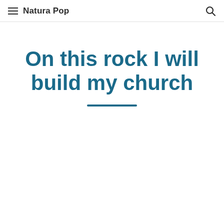Natura Pop
On this rock I will build my church